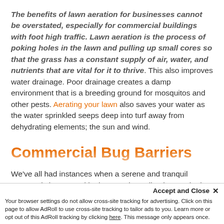The benefits of lawn aeration for businesses cannot be overstated, especially for commercial buildings with foot high traffic. Lawn aeration is the process of poking holes in the lawn and pulling up small cores so that the grass has a constant supply of air, water, and nutrients that are vital for it to thrive. This also improves water drainage. Poor drainage creates a damp environment that is a breeding ground for mosquitos and other pests. Aerating your lawn also saves your water as the water sprinkled seeps deep into turf away from dehydrating elements; the sun and wind.
Commercial Bug Barriers
We've all had instances when a serene and tranquil moment is interrupted by bugs and crawling insects be it indoors or outdoors. Our professional bug barrier not only kills...
Accept and Close ×
Your browser settings do not allow cross-site tracking for advertising. Click on this page to allow AdRoll to use cross-site tracking to tailor ads to you. Learn more or opt out of this AdRoll tracking by clicking here. This message only appears once.